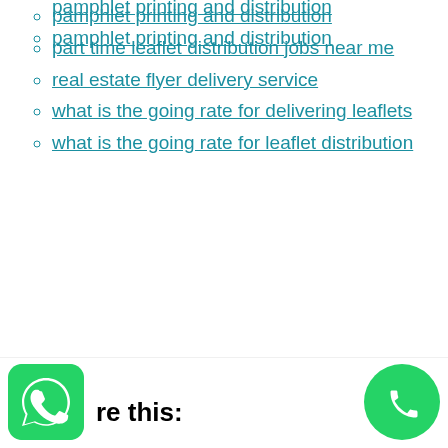pamphlet printing and distribution
part time leaflet distribution jobs near me
real estate flyer delivery service
what is the going rate for delivering leaflets
what is the going rate for leaflet distribution
re this: